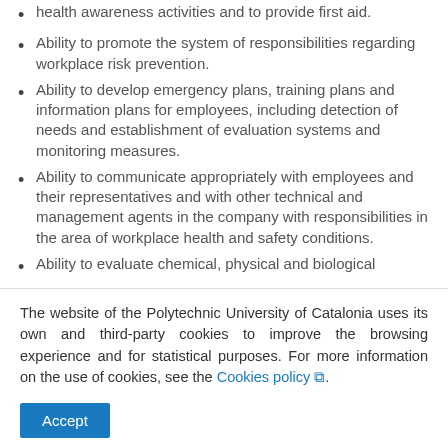health awareness activities and to provide first aid.
Ability to promote the system of responsibilities regarding workplace risk prevention.
Ability to develop emergency plans, training plans and information plans for employees, including detection of needs and establishment of evaluation systems and monitoring measures.
Ability to communicate appropriately with employees and their representatives and with other technical and management agents in the company with responsibilities in the area of workplace health and safety conditions.
Ability to evaluate chemical, physical and biological [continues below]
The website of the Polytechnic University of Catalonia uses its own and third-party cookies to improve the browsing experience and for statistical purposes. For more information on the use of cookies, see the Cookies policy.
Accept